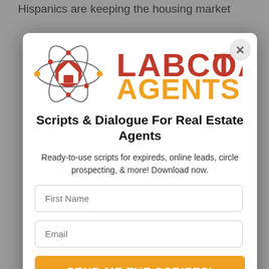Hispanics are keeping the housing market
[Figure (logo): Labcoat Agents logo with atomic orbit icon and house symbol, orange and red text]
Scripts & Dialogue For Real Estate Agents
Ready-to-use scripts for expireds, online leads, circle prospecting, & more! Download now.
First Name
Email
SEND ME THE SCRIPTS!